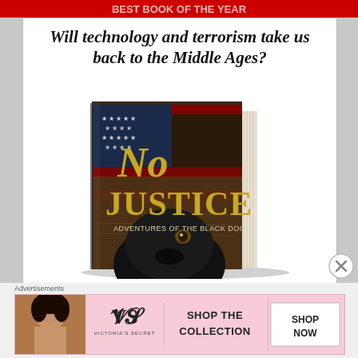[Figure (other): Red banner at the top of the page, partially obscured text]
Will technology and terrorism take us back to the Middle Ages?
[Figure (photo): Book cover image for 'No Justice: Adventures of the Black Dog' — showing a 3D book with an American flag and a black dog on the cover, with gold lettering]
[Figure (photo): Victoria's Secret advertisement banner at the bottom showing a model, the VS logo, text 'SHOP THE COLLECTION' and a 'SHOP NOW' button]
Advertisements